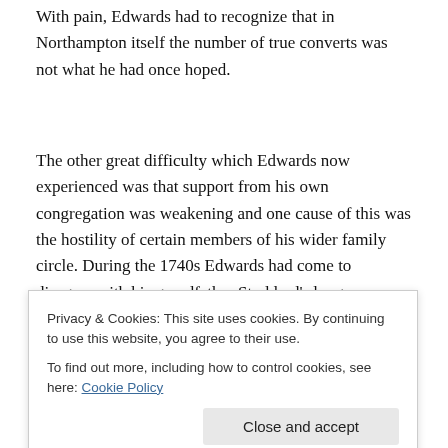With pain, Edwards had to recognize that in Northampton itself the number of true converts was not what he had once hoped.
The other great difficulty which Edwards now experienced was that support from his own congregation was weakening and one cause of this was the hostility of certain members of his wider family circle. During the 1740s Edwards had come to disagree with his grandfather Stoddard's long-established practice of not requiring a profession of saving faith in Christ in order to be a
Privacy & Cookies: This site uses cookies. By continuing to use this website, you agree to their use.
To find out more, including how to control cookies, see here: Cookie Policy
as usual. The final extraordinary outcome was his being voted